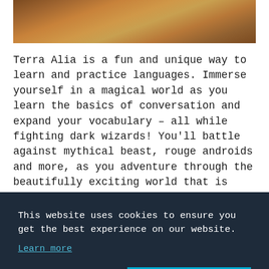[Figure (photo): Top portion of a photo showing what appears to be a wooden surface or game board, cropped at the top of the page]
Terra Alia is a fun and unique way to learn and practice languages. Immerse yourself in a magical world as you learn the basics of conversation and expand your vocabulary – all while fighting dark wizards! You'll battle against mythical beast, rouge androids and more, as you adventure through the beautifully exciting world that is Terra Alia!
This website uses cookies to ensure you get the best experience on our website.
Learn more
Decline
Allow cookies
[Figure (photo): Bottom right corner showing a gold/bronze ornamental letter or logo element, partially visible]
different languages!